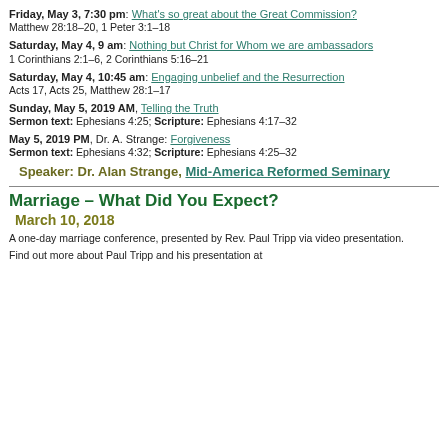Friday, May 3, 7:30 pm: What's so great about the Great Commission?
Matthew 28:18–20, 1 Peter 3:1–18
Saturday, May 4, 9 am: Nothing but Christ for Whom we are ambassadors
1 Corinthians 2:1–6, 2 Corinthians 5:16–21
Saturday, May 4, 10:45 am: Engaging unbelief and the Resurrection
Acts 17, Acts 25, Matthew 28:1–17
Sunday, May 5, 2019 AM, Telling the Truth
Sermon text: Ephesians 4:25; Scripture: Ephesians 4:17–32
May 5, 2019 PM, Dr. A. Strange: Forgiveness
Sermon text: Ephesians 4:32; Scripture: Ephesians 4:25–32
Speaker: Dr. Alan Strange, Mid-America Reformed Seminary
Marriage – What Did You Expect?
March 10, 2018
A one-day marriage conference, presented by Rev. Paul Tripp via video presentation.
Find out more about Paul Tripp and his presentation at